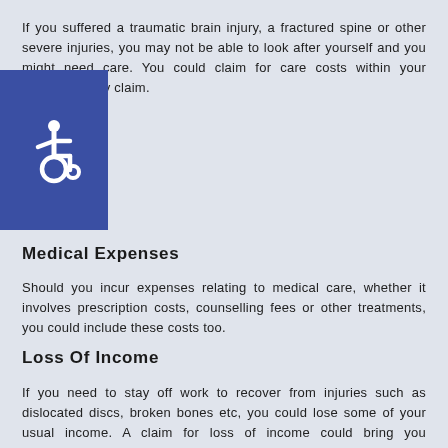If you suffered a traumatic brain injury, a fractured spine or other severe injuries, you may not be able to look after yourself and you might need care. You could claim for care costs within your personal injury claim.
[Figure (illustration): Blue square icon with white wheelchair accessibility symbol (ISA)]
Medical Expenses
Should you incur expenses relating to medical care, whether it involves prescription costs, counselling fees or other treatments, you could include these costs too.
Loss Of Income
If you need to stay off work to recover from injuries such as dislocated discs, broken bones etc, you could lose some of your usual income. A claim for loss of income could bring you compensation for the pay you've lost out on.
Travel Costs